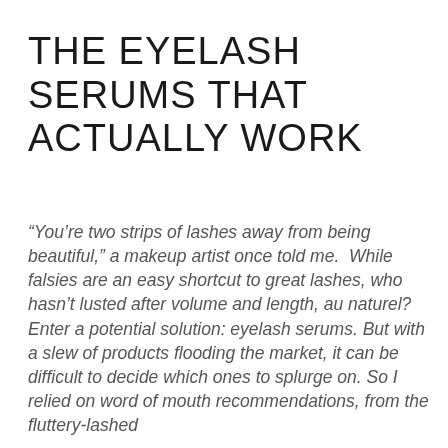THE EYELASH SERUMS THAT ACTUALLY WORK
“You’re two strips of lashes away from being beautiful,” a makeup artist once told me. While falsies are an easy shortcut to great lashes, who hasn’t lusted after volume and length, au naturel? Enter a potential solution: eyelash serums. But with a slew of products flooding the market, it can be difficult to decide which ones to splurge on. So I relied on word of mouth recommendations, from the fluttery-lashed